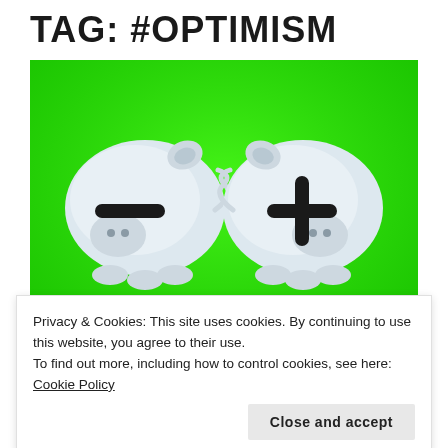TAG: #OPTIMISM
[Figure (photo): Two white ceramic piggy banks facing each other on a bright green background. The left piggy bank has a minus (−) sign on it, and the right piggy bank has a plus (+) sign on it. At the bottom of the image, white italic text reads 'Less and more'.]
Privacy & Cookies: This site uses cookies. By continuing to use this website, you agree to their use.
To find out more, including how to control cookies, see here: Cookie Policy
Close and accept
Frown less. Laugh more. Complain less. Encourage